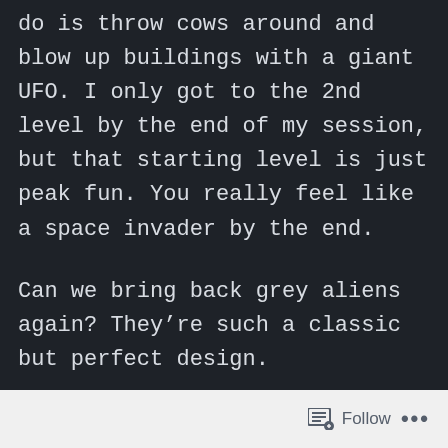do is throw cows around and blow up buildings with a giant UFO. I only got to the 2nd level by the end of my session, but that starting level is just peak fun. You really feel like a space invader by the end.

Can we bring back grey aliens again? They’re such a classic but perfect design.
Follow ...